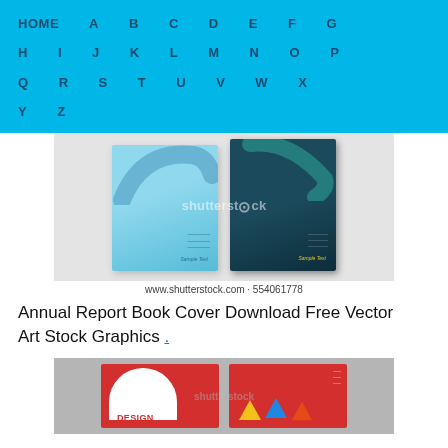HOME A B C D E F G H I J K L M N O P Q R S T U V W X Y Z
[Figure (screenshot): Shutterstock stock image showing two annual report book covers - one light blue, one dark teal/navy - with swash brush stroke designs and 'Sample Text' labels]
www.shutterstock.com · 554061778
Annual Report Book Cover Download Free Vector Art Stock Graphics .
[Figure (screenshot): Shutterstock stock image showing two annual report book cover designs - one red with white arc shape and 'DESIGN' text, one red with colorful triangle infographic shapes]